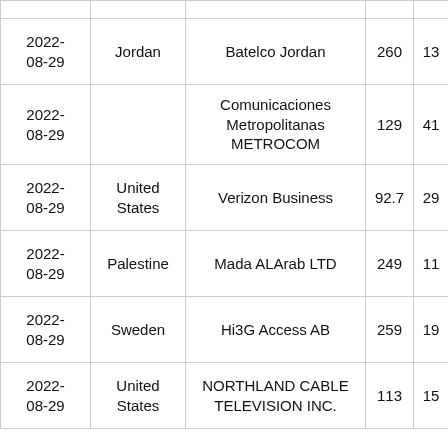| Date | Country | Organization | Col4 | Col5 |
| --- | --- | --- | --- | --- |
|  |  |  |  |  |
| 2022-08-29 | Jordan | Batelco Jordan | 260 | 13 |
| 2022-08-29 |  | Comunicaciones Metropolitanas METROCOM | 129 | 41 |
| 2022-08-29 | United States | Verizon Business | 92.7 | 29 |
| 2022-08-29 | Palestine | Mada ALArab LTD | 249 | 11 |
| 2022-08-29 | Sweden | Hi3G Access AB | 259 | 19 |
| 2022-08-29 | United States | NORTHLAND CABLE TELEVISION INC. | 113 | 15 |